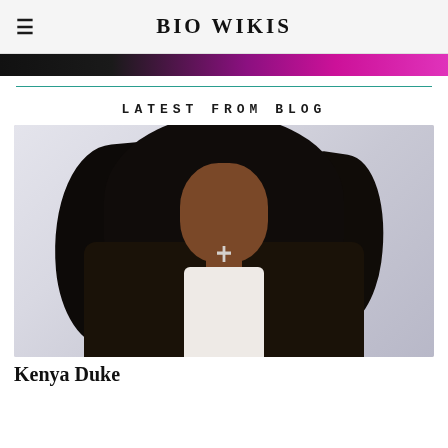BIO WIKIS
[Figure (photo): Partial photo strip showing a person wearing magenta/purple outfit against dark background]
LATEST FROM BLOG
[Figure (photo): Portrait photo of Kenya Duke, a woman with long dark hair wearing a dark blazer over white top with a cross necklace, photographed against a light gray background]
Kenya Duke